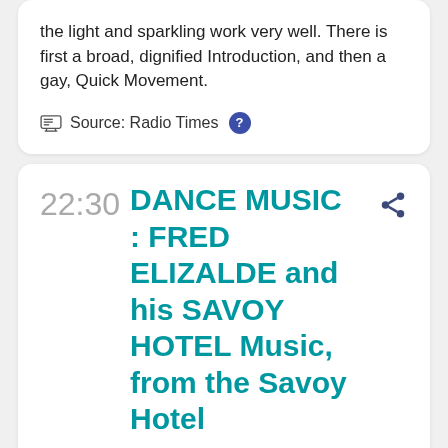the light and sparkling work very well. There is first a broad, dignified Introduction, and then a gay, Quick Movement.
Source: Radio Times
22:30
DANCE MUSIC : FRED ELIZALDE and his SAVOY HOTEL Music, from the Savoy Hotel
5XX Daventry
Thu 1st Nov 1928, 22:30 on 5XX